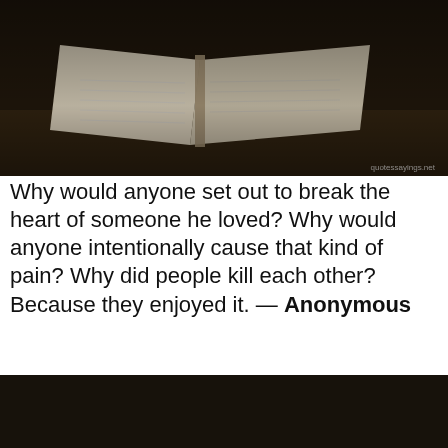[Figure (photo): Dark photo of an open book on a table, with watermark 'quotessayings.net' in bottom right corner]
Why would anyone set out to break the heart of someone he loved? Why would anyone intentionally cause that kind of pain? Why did people kill each other? Because they enjoyed it. — Anonymous
[Figure (photo): Dark photo of a basket of food (possibly fried items) with a handwritten-style white text overlay: 'Josh, you break my heart. And you're a liar. Because you know me, you know me better than almost anybody, and you don't love me. - Author: Jenny Han']